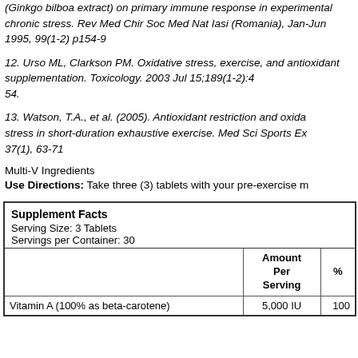(Ginkgo bilboa extract) on primary immune response in experimental chronic stress. Rev Med Chir Soc Med Nat Iasi (Romania), Jan-Jun 1995, 99(1-2) p154-9
12. Urso ML, Clarkson PM. Oxidative stress, exercise, and antioxidant supplementation. Toxicology. 2003 Jul 15;189(1-2):41-54.
13. Watson, T.A., et al. (2005). Antioxidant restriction and oxidative stress in short-duration exhaustive exercise. Med Sci Sports Exc, 37(1), 63-71
Multi-V Ingredients
Use Directions: Take three (3) tablets with your pre-exercise m
|  | Amount Per Serving | % |
| --- | --- | --- |
| Vitamin A (100% as beta-carotene) | 5,000 IU | 100 |